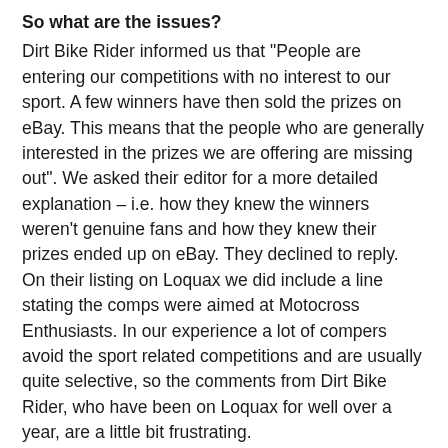So what are the issues?
Dirt Bike Rider informed us that "People are entering our competitions with no interest to our sport. A few winners have then sold the prizes on eBay. This means that the people who are generally interested in the prizes we are offering are missing out". We asked their editor for a more detailed explanation – i.e. how they knew the winners weren't genuine fans and how they knew their prizes ended up on eBay. They declined to reply.
On their listing on Loquax we did include a line stating the comps were aimed at Motocross Enthusiasts. In our experience a lot of compers avoid the sport related competitions and are usually quite selective, so the comments from Dirt Bike Rider, who have been on Loquax for well over a year, are a little bit frustrating.
It is important when you're entering competitions to be familiar with the site you're visiting and the prize you're going for! If you have no need for "Carl Nunn's British GP Race Kit" then move on and enter something else. That's common sense comping and we hope that Loquax users agree.
UK Safety Footwear had a slightly different issue. They're giving